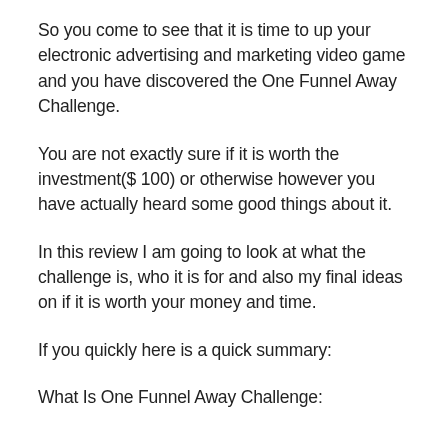So you come to see that it is time to up your electronic advertising and marketing video game and you have discovered the One Funnel Away Challenge.
You are not exactly sure if it is worth the investment($ 100) or otherwise however you have actually heard some good things about it.
In this review I am going to look at what the challenge is, who it is for and also my final ideas on if it is worth your money and time.
If you quickly here is a quick summary:
What Is One Funnel Away Challenge: